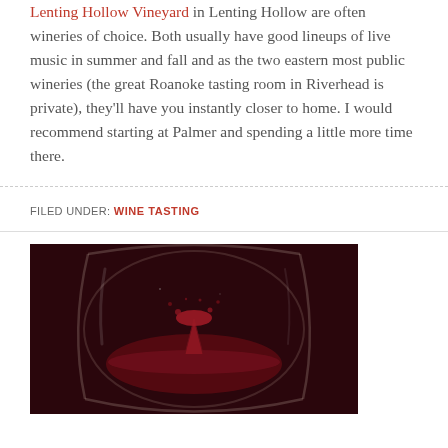Lenting Hollow Vineyard in Lenting Hollow are often wineries of choice. Both usually have good lineups of live music in summer and fall and as the two eastern most public wineries (the great Roanoke tasting room in Riverhead is private), they'll have you instantly closer to home. I would recommend starting at Palmer and spending a little more time there.
FILED UNDER: WINE TASTING
[Figure (photo): A stemless wine glass with a splash of red wine inside, photographed against a dark maroon/black background]